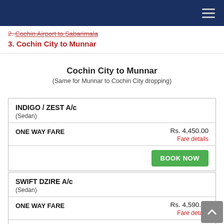Navigation header bar
2. Cochin Airport to Sabarimala
3. Cochin City to Munnar
Cochin City to Munnar
(Same for Munnar to Cochin City dropping)
| Car | Fare | Action |
| --- | --- | --- |
| INDIGO / ZEST A/c (Sedan) | Rs. 4,450.00 | BOOK NOW |
| SWIFT DZIRE A/c (Sedan) | Rs. 4,590.00 | BOOK NOW |